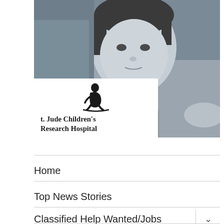[Figure (photo): Black and white close-up photo of a young child looking at the camera, wearing a ruffled top with a necklace. St. Jude Children's Research Hospital logo overlaid on lower left portion of the image.]
Home
Top News Stories
Classified Help Wanted/Jobs